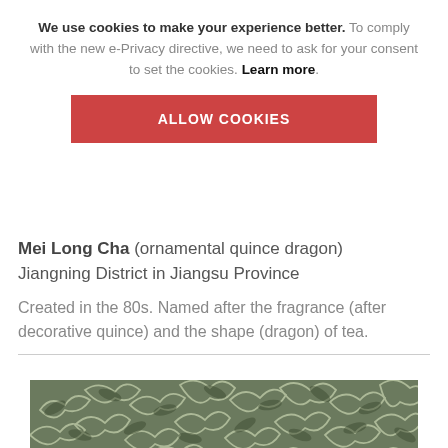We use cookies to make your experience better. To comply with the new e-Privacy directive, we need to ask for your consent to set the cookies. Learn more.
ALLOW COOKIES
Mei Long Cha (ornamental quince dragon) Jiangning District in Jiangsu Province
Created in the 80s. Named after the fragrance (after decorative quince) and the shape (dragon) of tea.
[Figure (photo): Close-up photo of dried green tea leaves (Mei Long Cha), showing densely curled and twisted tea leaves in shades of green and silver/white.]